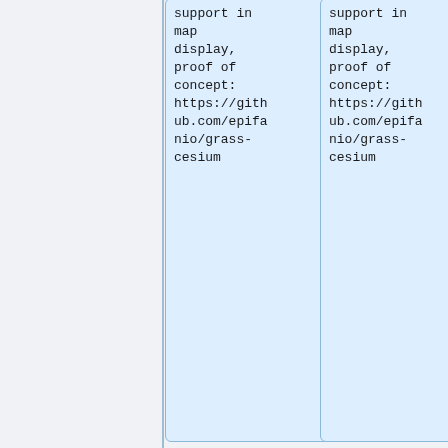support in map display, proof of concept: https://github.com/epifanio/grass-cesium
support in map display, proof of concept: https://github.com/epifanio/grass-cesium
+
==== Raster compression ====
+
* trunk: make NULL data compression the default (ticket: